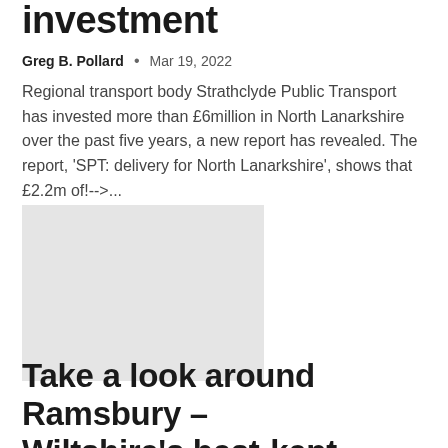investment
Greg B. Pollard  •  Mar 19, 2022
Regional transport body Strathclyde Public Transport has invested more than £6million in North Lanarkshire over the past five years, a new report has revealed. The report, 'SPT: delivery for North Lanarkshire', shows that £2.2m of!-->...
[Figure (photo): Placeholder image (light grey rectangle)]
Take a look around Ramsbury – Wiltshire's best-kept village with its own brewery